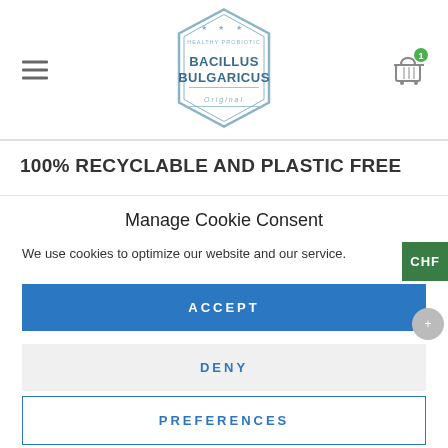[Figure (logo): Bacillus Bulgaricus hexagonal logo with stars and text 'HEALTHY PROBIOTIC - Original']
100% RECYCLABLE AND PLASTIC FREE
Manage Cookie Consent
We use cookies to optimize our website and our service.
ACCEPT
DENY
PREFERENCES